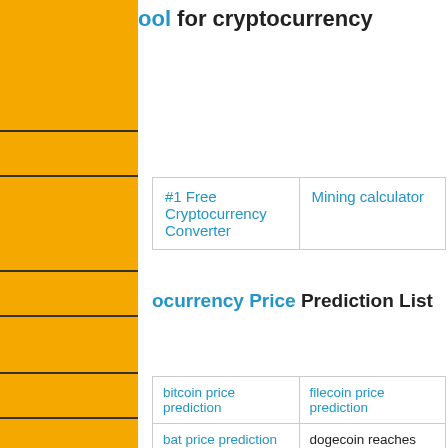ool for cryptocurrency
| #1 Free Cryptocurrency Converter | Mining calculator |
ocurrency Price Prediction List
| bitcoin price prediction | filecoin price prediction |
| bat price prediction | dogecoin reaches new |